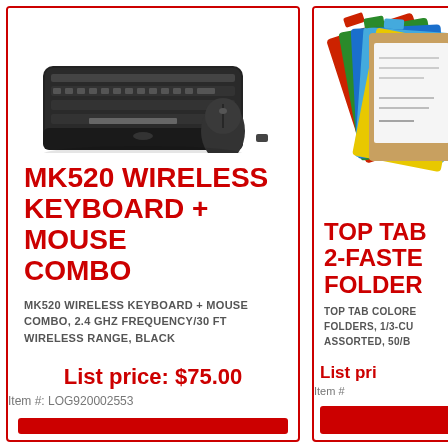[Figure (photo): Logitech MK520 wireless keyboard and mouse combo product photo on white background]
MK520 WIRELESS KEYBOARD + MOUSE COMBO
MK520 WIRELESS KEYBOARD + MOUSE COMBO, 2.4 GHZ FREQUENCY/30 FT WIRELESS RANGE, BLACK
List price: $75.00
Item #: LOG920002553
[Figure (photo): Top tab colored 2-fastener folders product photo showing colorful folders fanned out]
TOP TAB 2-FASTENER FOLDERS
TOP TAB COLORED 2-FASTENER FOLDERS, 1/3-CUT ASSORTED, 50/BOX
List pri...
Item #...